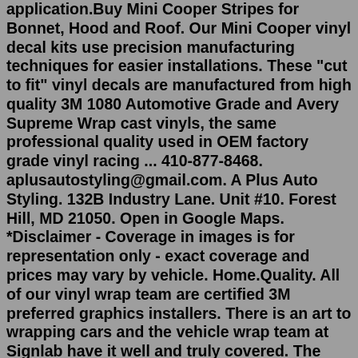application.Buy Mini Cooper Stripes for Bonnet, Hood and Roof. Our Mini Cooper vinyl decal kits use precision manufacturing techniques for easier installations. These "cut to fit" vinyl decals are manufactured from high quality 3M 1080 Automotive Grade and Avery Supreme Wrap cast vinyls, the same professional quality used in OEM factory grade vinyl racing ... 410-877-8468. aplusautostyling@gmail.com. A Plus Auto Styling. 132B Industry Lane. Unit #10. Forest Hill, MD 21050. Open in Google Maps. *Disclaimer - Coverage in images is for representation only - exact coverage and prices may vary by vehicle. Home.Quality. All of our vinyl wrap team are certified 3M preferred graphics installers. There is an art to wrapping cars and the vehicle wrap team at Signlab have it well and truly covered. The team at Signlab love wrapping cars. With a combined 25+ years of experience within the vehicle wrap industry, there is little we are not able to deliver ...Union Jack Roof Kits. Union Jack Roof Kits. £25.00. union flag main colour: [Choose] black white